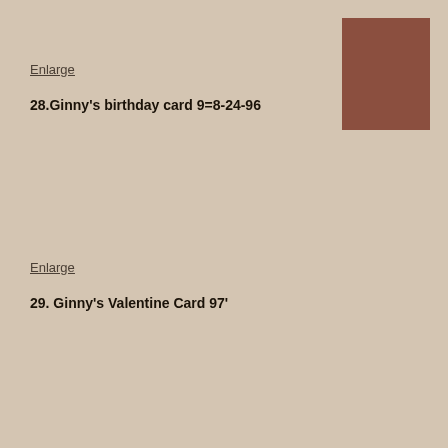[Figure (photo): Brown/rust colored rectangle representing a photograph placeholder in upper right corner]
Enlarge
28.Ginny's birthday card 9=8-24-96
Enlarge
29. Ginny's Valentine Card 97'